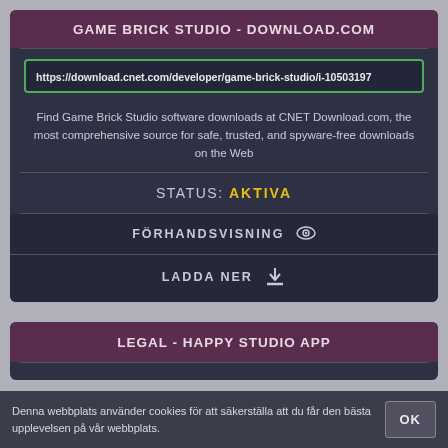GAME BRICK STUDIO - DOWNLOAD.COM
https://download.cnet.com/developer/game-brick-studio/i-10503197
Find Game Brick Studio software downloads at CNET Download.com, the most comprehensive source for safe, trusted, and spyware-free downloads on the Web
STATUS: AKTIVA
FÖRHANDSVISNING
LADDA NER
LEGAL - HAPPY STUDIO APP
Denna webbplats använder cookies för att säkerställa att du får den bästa upplevelsen på vår webbplats.